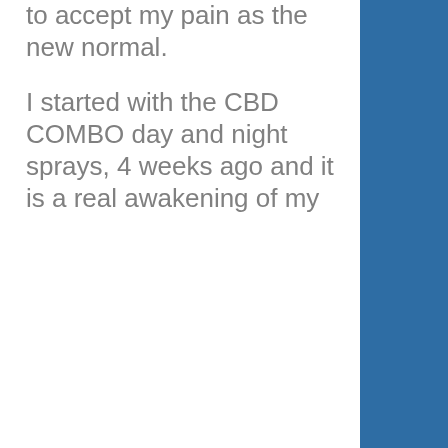to accept my pain as the new normal.

I started with the CBD COMBO day and night sprays, 4 weeks ago and it is a real awakening of my